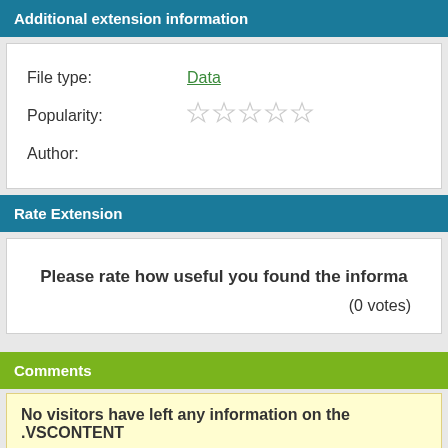Additional extension information
| File type: | Data |
| Popularity: | ☆ ☆ ☆ ☆ ☆ |
| Author: |  |
Rate Extension
Please rate how useful you found the informa
(0 votes)
Comments
No visitors have left any information on the .VSCONTENT